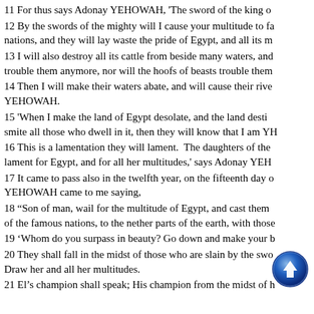11 For thus says Adonay YEHOWAH, 'The sword of the king o
12 By the swords of the mighty will I cause your multitude to fa nations, and they will lay waste the pride of Egypt, and all its m
13 I will also destroy all its cattle from beside many waters, and trouble them anymore, nor will the hoofs of beasts trouble them
14 Then I will make their waters abate, and will cause their rive YEHOWAH.
15 'When I make the land of Egypt desolate, and the land desti smite all those who dwell in it, then they will know that I am YH
16 This is a lamentation they will lament.  The daughters of the lament for Egypt, and for all her multitudes,' says Adonay YEH
17 It came to pass also in the twelfth year, on the fifteenth day o YEHOWAH came to me saying,
18 “Son of man, wail for the multitude of Egypt, and cast them of the famous nations, to the nether parts of the earth, with those
19 ‘Whom do you surpass in beauty? Go down and make your b
20 They shall fall in the midst of those who are slain by the swo Draw her and all her multitudes.
21 El’s champion shall speak; His champion from the midst of h
[Figure (other): Scroll-up navigation button (circular blue arrow icon)]